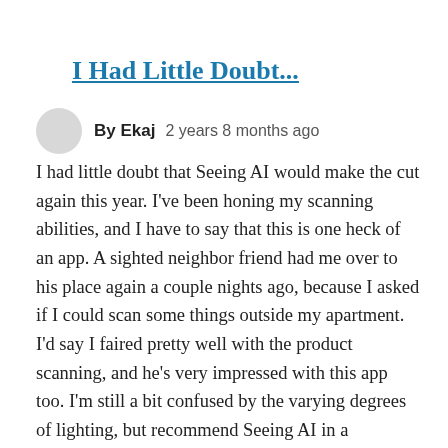I Had Little Doubt...
By Ekaj   2 years 8 months ago
I had little doubt that Seeing AI would make the cut again this year. I've been honing my scanning abilities, and I have to say that this is one heck of an app. A sighted neighbor friend had me over to his place again a couple nights ago, because I asked if I could scan some things outside my apartment. I'd say I faired pretty well with the product scanning, and he's very impressed with this app too. I'm still a bit confused by the varying degrees of lighting, but recommend Seeing AI in a heartbeat to everyone. As far as the game that won this year, I have not played it so can't comment.